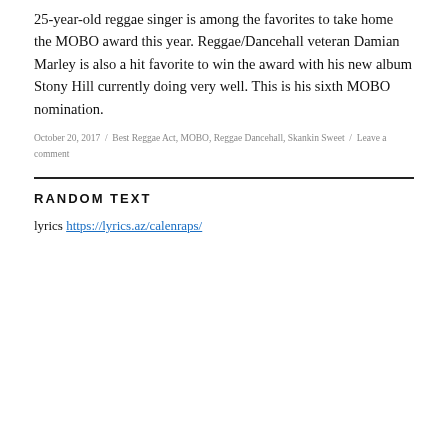25-year-old reggae singer is among the favorites to take home the MOBO award this year. Reggae/Dancehall veteran Damian Marley is also a hit favorite to win the award with his new album Stony Hill currently doing very well. This is his sixth MOBO nomination.
October 20, 2017 / Best Reggae Act, MOBO, Reggae Dancehall, Skankin Sweet / Leave a comment
RANDOM TEXT
lyrics https://lyrics.az/calenraps/